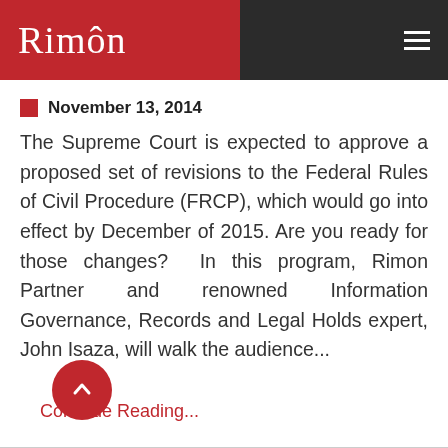RIMÔN
November 13, 2014
The Supreme Court is expected to approve a proposed set of revisions to the Federal Rules of Civil Procedure (FRCP), which would go into effect by December of 2015. Are you ready for those changes?  In this program, Rimon Partner and renowned Information Governance, Records and Legal Holds expert, John Isaza, will walk the audience...
Continue Reading...